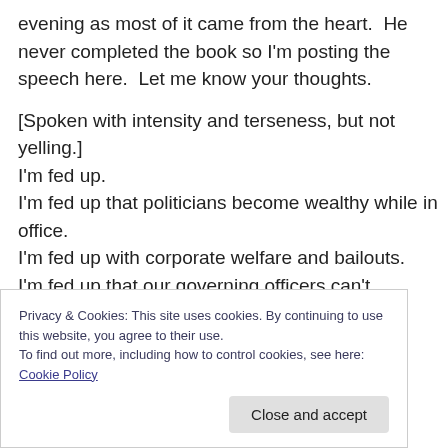evening as most of it came from the heart.  He never completed the book so I'm posting the speech here.  Let me know your thoughts.
[Spoken with intensity and terseness, but not yelling.]
I'm fed up.
I'm fed up that politicians become wealthy while in office.
I'm fed up with corporate welfare and bailouts.
I'm fed up that our governing officers can't balance a checkbook.
I'm. Fed. Up.
Privacy & Cookies: This site uses cookies. By continuing to use this website, you agree to their use.
To find out more, including how to control cookies, see here: Cookie Policy